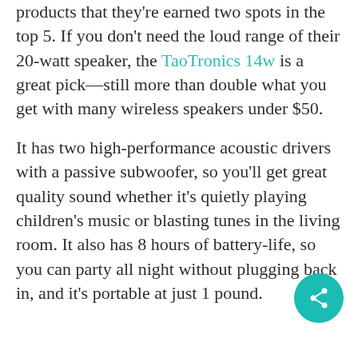products that they're earned two spots in the top 5. If you don't need the loud range of their 20-watt speaker, the TaoTronics 14w is a great pick—still more than double what you get with many wireless speakers under $50.
It has two high-performance acoustic drivers with a passive subwoofer, so you'll get great quality sound whether it's quietly playing children's music or blasting tunes in the living room. It also has 8 hours of battery-life, so you can party all night without plugging back in, and it's portable at just 1 pound.